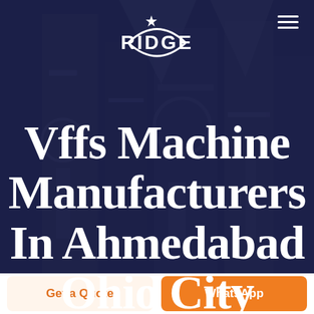[Figure (photo): Background photo of industrial VFFS (Vertical Form Fill Seal) packaging machinery in a factory setting, overlaid with a dark navy/purple semi-transparent overlay. RIDGE logo with star and crescent mark at top center. Hamburger menu icon at top right.]
Vffs Machine Manufacturers In Ahmedabad Ohio City
Get a Quote
WhatsApp